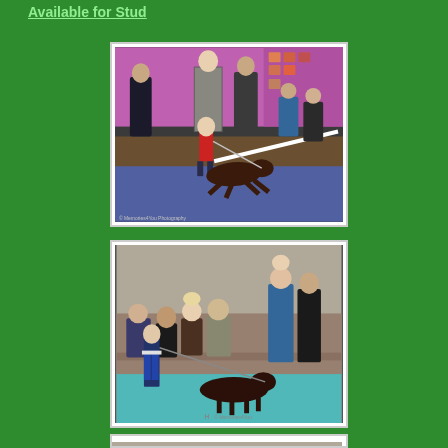Available for Stud
[Figure (photo): Dog show photo: a dark brown/chocolate Labrador Retriever being shown at an indoor dog show. Handler in red skirt running with dog on lead. Pink banner and market stalls in background. Blue matting on floor.]
[Figure (photo): Dog show photo: a dark brown/chocolate Labrador Retriever being stacked/posed at an indoor dog show. Female handler in blue top and jeans. Audience seated behind on benches. Teal/turquoise matting on floor.]
[Figure (photo): Partial third dog show photo, cropped at bottom of page.]